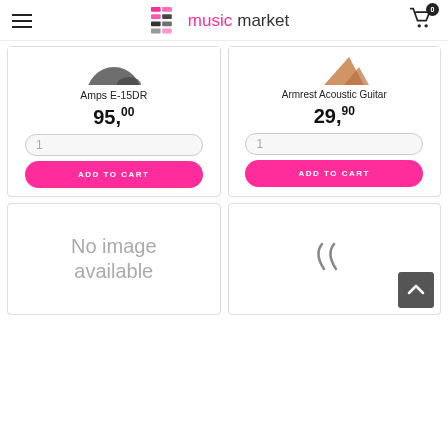musicmarket — navigation header with hamburger menu and cart (0 items)
Amps E-15DR
95,00
Armrest Acoustic Guitar
29,90
No image available
[Figure (illustration): Partial product image bottom crop, appears to be a stringed instrument accessory]